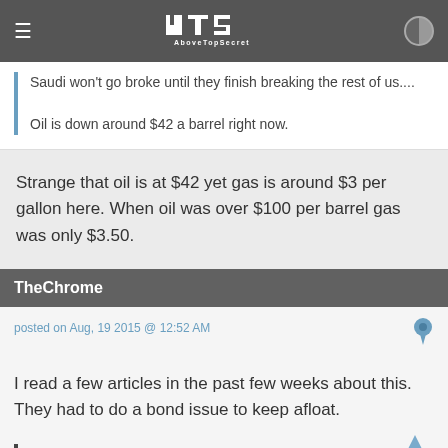4TS AboveTopSecret
Saudi won't go broke until they finish breaking the rest of us....

Oil is down around $42 a barrel right now.
Strange that oil is at $42 yet gas is around $3 per gallon here. When oil was over $100 per barrel gas was only $3.50.
TheChrome
posted on Aug, 19 2015 @ 12:52 AM
I read a few articles in the past few weeks about this. They had to do a bond issue to keep afloat.